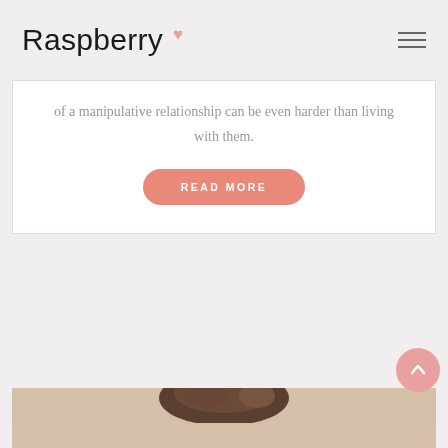Raspberry
of a manipulative relationship can be even harder than living with them.
READ MORE
[Figure (photo): Cropped photo of a person with brown hair pulled up, shot from above shoulders, warm neutral background.]